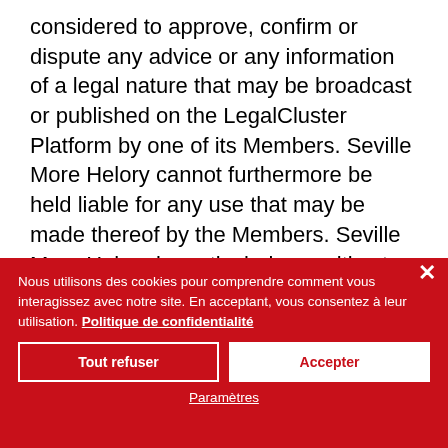...Helory shall in no way be considered to approve, confirm or dispute any advice or any information of a legal nature that may be broadcast or published on the LegalCluster Platform by one of its Members. Seville More Helory cannot furthermore be held liable for any use that may be made thereof by the Members. Seville More Helory is particularly sensitive to the need to comply with the rules of ethics to which its Members are bound, in light of their public service mission as...
Nous utilisons des cookies pour comprendre comment vous interagissez avec notre site. En acceptant, vous consentez à leur utilisation. Politique de confidentialité
Tout refuser
Accepter
Paramètres